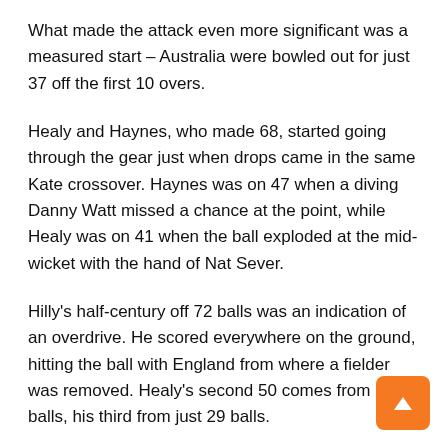What made the attack even more significant was a measured start – Australia were bowled out for just 37 off the first 10 overs.
Healy and Haynes, who made 68, started going through the gear just when drops came in the same Kate crossover. Haynes was on 47 when a diving Danny Watt missed a chance at the point, while Healy was on 41 when the ball exploded at the mid-wicket with the hand of Nat Sever.
Hilly's half-century off 72 balls was an indication of an overdrive. He scored everywhere on the ground, hitting the ball with England from where a fielder was removed. Healy's second 50 comes from 30 balls, his third from just 29 balls.